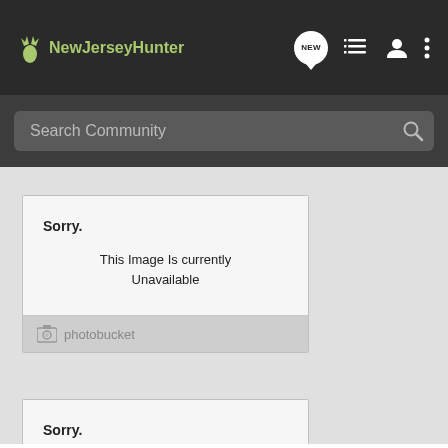NewJerseyHunter
Search Community
[Figure (screenshot): Photobucket unavailable image placeholder card 1 showing 'Sorry. This Image Is currently Unavailable' with photobucket logo footer]
[Figure (screenshot): Photobucket unavailable image placeholder card 2 showing 'Sorry. This Image Is currently Unavailable' with partial view]